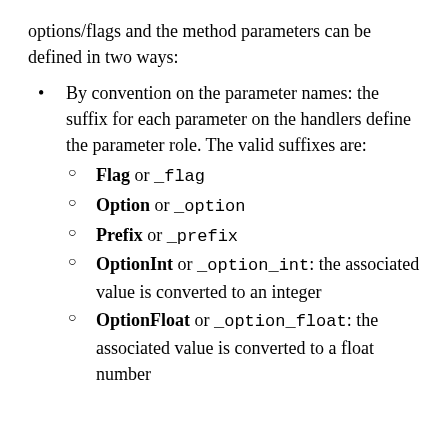options/flags and the method parameters can be defined in two ways:
By convention on the parameter names: the suffix for each parameter on the handlers define the parameter role. The valid suffixes are:
Flag or _flag
Option or _option
Prefix or _prefix
OptionInt or _option_int: the associated value is converted to an integer
OptionFloat or _option_float: the associated value is converted to a float number